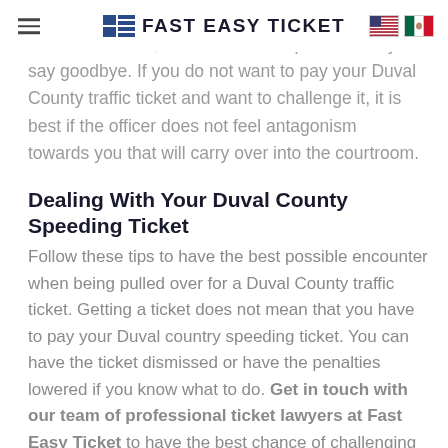FAST EASY TICKET
When the conversation is over, and you have received a ticket, make sure to be polite when you say goodbye. If you do not want to pay your Duval County traffic ticket and want to challenge it, it is best if the officer does not feel antagonism towards you that will carry over into the courtroom.
Dealing With Your Duval County Speeding Ticket
Follow these tips to have the best possible encounter when being pulled over for a Duval County traffic ticket. Getting a ticket does not mean that you have to pay your Duval country speeding ticket. You can have the ticket dismissed or have the penalties lowered if you know what to do. Get in touch with our team of professional ticket lawyers at Fast Easy Ticket to have the best chance of challenging your ticket in court and having a successful outcome.